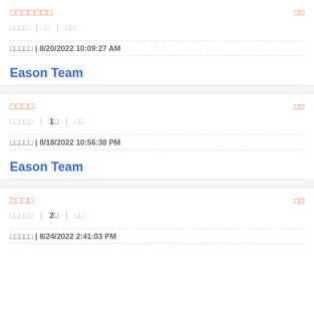□□□□□□□
□□□□  |  □  |  □□
□□□□□ | 8/20/2022 10:09:27 AM
Eason Team
□□□□
□□□□□  |  1□  |  □□
□□□□□ | 8/18/2022 10:56:38 PM
Eason Team
□□□□
□□□□□  |  2□  |  □□
□□□□□ | 8/24/2022 2:41:03 PM